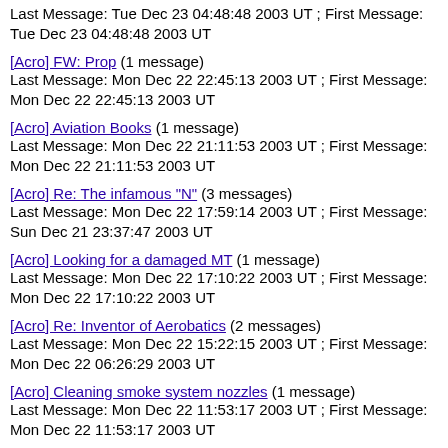Last Message: Tue Dec 23 04:48:48 2003 UT ; First Message: Tue Dec 23 04:48:48 2003 UT
[Acro] FW: Prop (1 message)
Last Message: Mon Dec 22 22:45:13 2003 UT ; First Message: Mon Dec 22 22:45:13 2003 UT
[Acro] Aviation Books (1 message)
Last Message: Mon Dec 22 21:11:53 2003 UT ; First Message: Mon Dec 22 21:11:53 2003 UT
[Acro] Re: The infamous "N" (3 messages)
Last Message: Mon Dec 22 17:59:14 2003 UT ; First Message: Sun Dec 21 23:37:47 2003 UT
[Acro] Looking for a damaged MT (1 message)
Last Message: Mon Dec 22 17:10:22 2003 UT ; First Message: Mon Dec 22 17:10:22 2003 UT
[Acro] Re: Inventor of Aerobatics (2 messages)
Last Message: Mon Dec 22 15:22:15 2003 UT ; First Message: Mon Dec 22 06:26:29 2003 UT
[Acro] Cleaning smoke system nozzles (1 message)
Last Message: Mon Dec 22 11:53:17 2003 UT ; First Message: Mon Dec 22 11:53:17 2003 UT